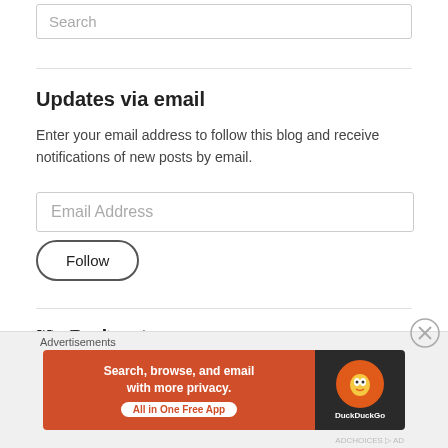Search
Updates via email
Enter your email address to follow this blog and receive notifications of new posts by email.
Email Address
Follow
My Podcasts
Advertisements
[Figure (screenshot): DuckDuckGo advertisement banner: Search, browse, and email with more privacy. All in One Free App]